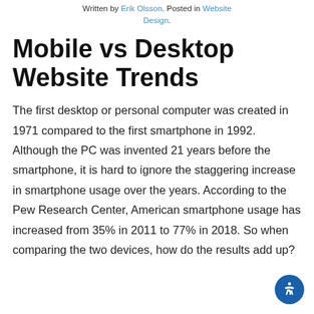Written by Erik Olsson. Posted in Website Design.
Mobile vs Desktop Website Trends
The first desktop or personal computer was created in 1971 compared to the first smartphone in 1992. Although the PC was invented 21 years before the smartphone, it is hard to ignore the staggering increase in smartphone usage over the years. According to the Pew Research Center, American smartphone usage has increased from 35% in 2011 to 77% in 2018. So when comparing the two devices, how do the results add up?